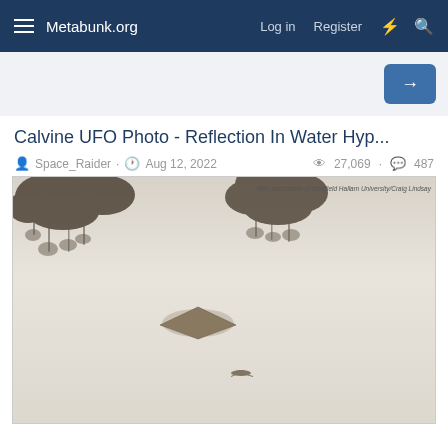Metabunk.org  Log in  Register
Calvine UFO Photo - Reflection In Water Hyp...
Space_Raider · Aug 12, 2022  ·  27,069 · 487
[Figure (photo): The Calvine UFO photograph showing a diamond-shaped object in a misty sky with trees visible at the top, and a small aircraft below the UFO. Watermark reads: With permission of Sheffield Hallam University/Craig Lindsay]